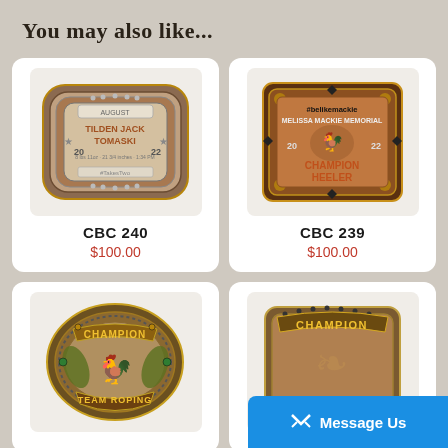You may also like...
[Figure (photo): Bronze and silver rodeo belt buckle reading TILDEN JACK TOMASKI, AUGUST, 2022]
CBC 240
$100.00
[Figure (photo): Bronze rodeo belt buckle reading #belikemackie MELISSA MACKIE MEMORIAL 2022 CHAMPION HEELER]
CBC 239
$100.00
[Figure (photo): Oval bronze rodeo belt buckle reading CHAMPION and TEAM ROPING with rooster design]
[Figure (photo): Bronze rodeo belt buckle reading CHAMPION, partially visible]